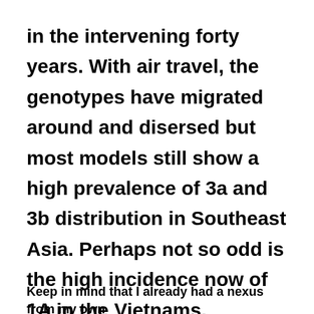in the intervening forty years. With air travel, the genotypes have migrated around and disersed but most models still show a high prevalence of 3a and 3b distribution in Southeast Asia. Perhaps not so odd is the high incidence now of 1A in the Vietnams.
Keep in mind that I already had a nexus from my own